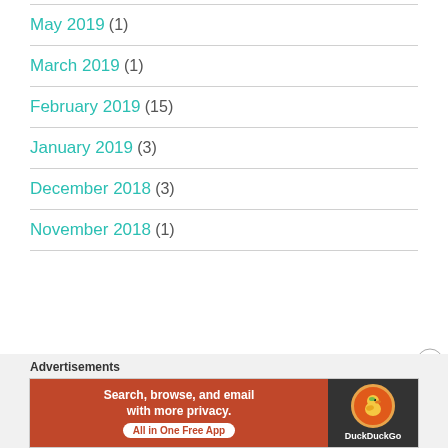May 2019 (1)
March 2019 (1)
February 2019 (15)
January 2019 (3)
December 2018 (3)
November 2018 (1)
Advertisements
[Figure (screenshot): DuckDuckGo advertisement banner: 'Search, browse, and email with more privacy. All in One Free App' on orange background with DuckDuckGo duck logo on dark background]